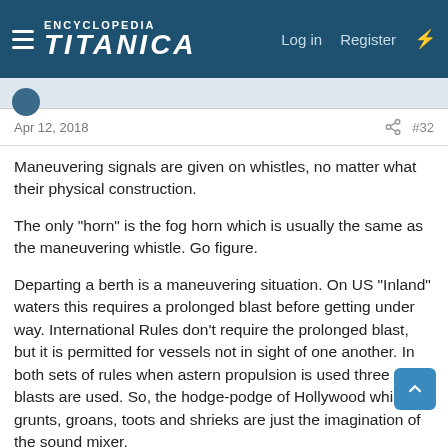Encyclopedia Titanica — Log in  Register
Apr 12, 2018  #32
Maneuvering signals are given on whistles, no matter what their physical construction.
The only "horn" is the fog horn which is usually the same as the maneuvering whistle. Go figure.
Departing a berth is a maneuvering situation. On US "Inland" waters this requires a prolonged blast before getting under way. International Rules don't require the prolonged blast, but it is permitted for vessels not in sight of one another. In both sets of rules when astern propulsion is used three short blasts are used. So, the hodge-podge of Hollywood whistle grunts, groans, toots and shrieks are just the imagination of the sound mixer.
Even so, I must point out that until the coming of magnetic stripe sound film after WW-2 it was a real chore to shoot "synched"